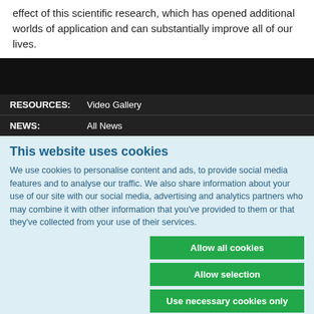effect of this scientific research, which has opened additional worlds of application and can substantially improve all of our lives.
RESOURCES: Video Gallery
NEWS: All News
This website uses cookies
We use cookies to personalise content and ads, to provide social media features and to analyse our traffic. We also share information about your use of our site with our social media, advertising and analytics partners who may combine it with other information that you've provided to them or that they've collected from your use of their services.
Allow all cookies
Allow selection
Use necessary cookies only
Necessary  Preferences  Statistics  Marketing  Show details